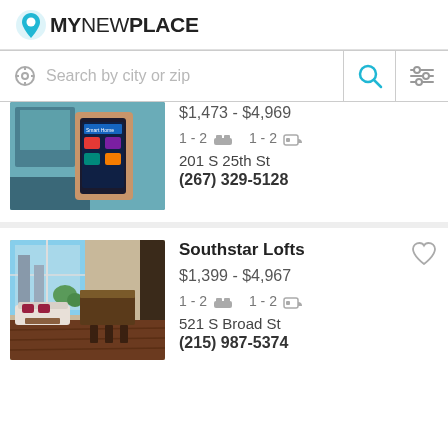MyNewPlace
Search by city or zip
[Figure (screenshot): Apartment listing image showing a hand holding a smartphone with a home automation app]
$1,473 - $4,969
1 - 2 bed  1 - 2 bath
201 S 25th St
(267) 329-5128
[Figure (photo): Apartment interior photo showing a modern living room with floor-to-ceiling windows and open kitchen]
Southstar Lofts
$1,399 - $4,967
1 - 2 bed  1 - 2 bath
521 S Broad St
(215) 987-5374